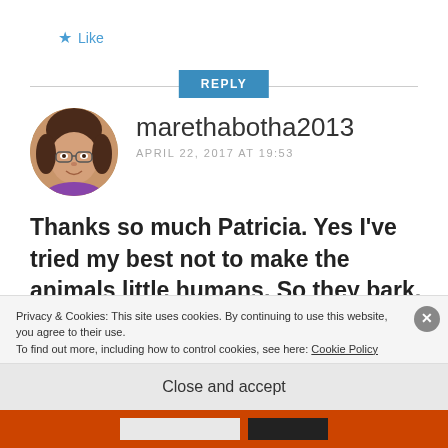★ Like
REPLY
[Figure (photo): Circular avatar photo of a woman with glasses and dark hair, smiling]
marethabotha2013
APRIL 22, 2017 AT 19:53
Thanks so much Patricia. Yes I've tried my best not to make the animals little humans. So they bark, yap, yelp and
Privacy & Cookies: This site uses cookies. By continuing to use this website, you agree to their use.
To find out more, including how to control cookies, see here: Cookie Policy
Close and accept